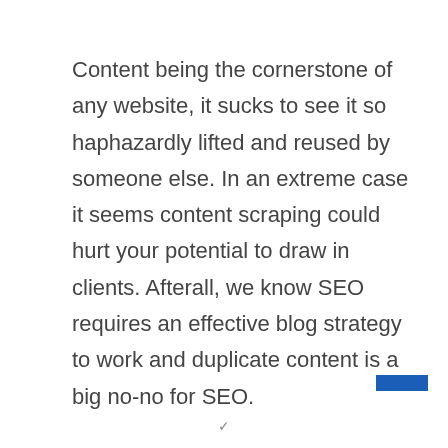Content being the cornerstone of any website, it sucks to see it so haphazardly lifted and reused by someone else. In an extreme case it seems content scraping could hurt your potential to draw in clients. Afterall, we know SEO requires an effective blog strategy to work and duplicate content is a big no-no for SEO.